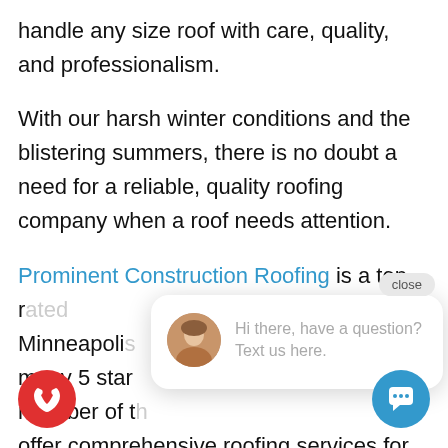handle any size roof with care, quality, and professionalism.
With our harsh winter conditions and the blistering summers, there is no doubt a need for a reliable, quality roofing company when a roof needs attention.
Prominent Construction Roofing is a top rated Minneapolis... many 5 star... member of t... offer comprehensive roofing services for every aspect of the roof system, from small home residential projects, to large commercial and
[Figure (screenshot): Chat popup widget with close button, avatar photo of a woman, and text 'Hi there, have a question? Text us here.' Also phone button (red circle) and chat button (blue circle) at bottom of page.]